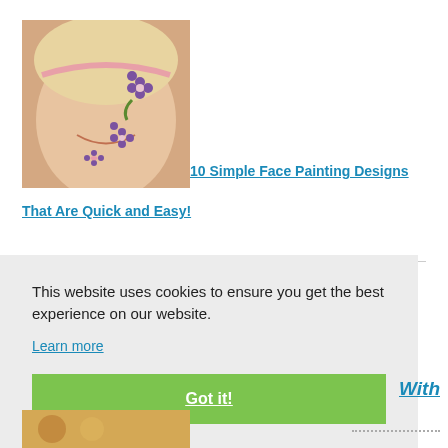[Figure (photo): A smiling young girl with face paint designs including flowers and a vine on her cheek]
10 Simple Face Painting Designs That Are Quick and Easy!
[Figure (photo): Partial thumbnail of a second article image with dark tones]
This website uses cookies to ensure you get the best experience on our website.
Learn more
Got it!
With
[Figure (photo): Partial thumbnail of a food/recipe article at the bottom]